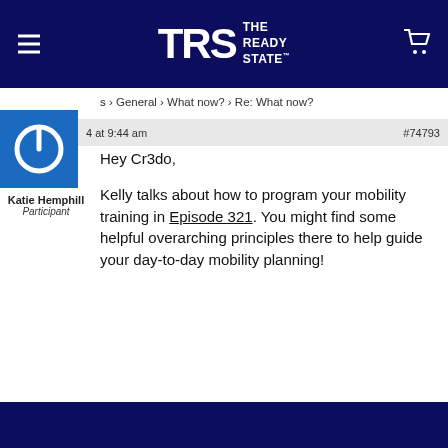TRS THE READY STATE
s › General › What now? › Re: What now?
4 at 9:44 am   #74793
[Figure (logo): Blue square with white power button icon — avatar for Katie Hemphill]
Katie Hemphill
Participant
Hey Cr3do,

Kelly talks about how to program your mobility training in Episode 321. You might find some helpful overarching principles there to help guide your day-to-day mobility planning!